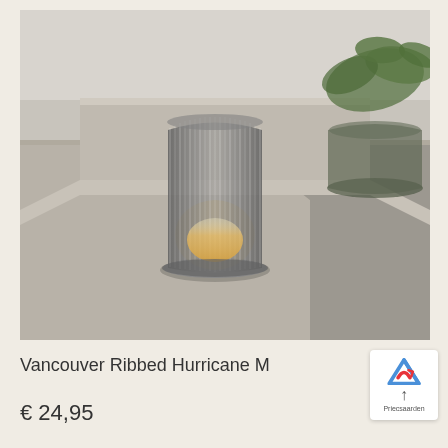[Figure (photo): A ribbed smoked glass hurricane candle holder with a lit candle inside, placed on a concrete step/shelf. To the right is a dark glass vase with green eucalyptus leaves. Background is a light grey/white wall.]
Vancouver Ribbed Hurricane M
€ 24,95